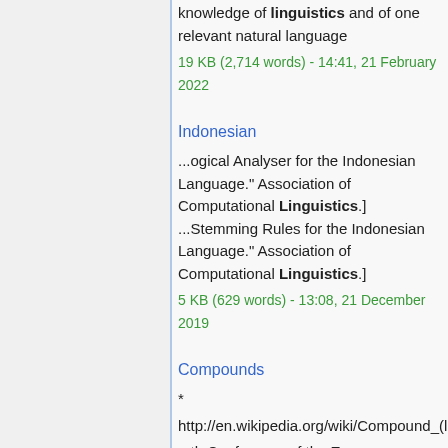knowledge of linguistics and of one relevant natural language
19 KB (2,714 words) - 14:41, 21 February 2022
Indonesian
...ogical Analyser for the Indonesian Language." Association of Computational Linguistics.]
...Stemming Rules for the Indonesian Language." Association of Computational Linguistics.]
5 KB (629 words) - 13:08, 21 December 2019
Compounds
* http://en.wikipedia.org/wiki/Compound_(lin
...th Conference of the European Chapter of the Association for